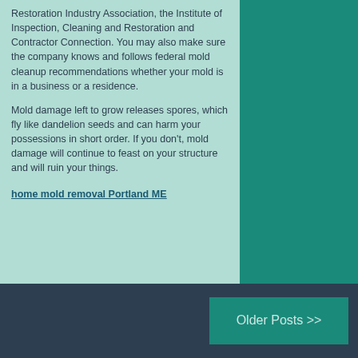Restoration Industry Association, the Institute of Inspection, Cleaning and Restoration and Contractor Connection. You may also make sure the company knows and follows federal mold cleanup recommendations whether your mold is in a business or a residence.
Mold damage left to grow releases spores, which fly like dandelion seeds and can harm your possessions in short order. If you don't, mold damage will continue to feast on your structure and will ruin your things.
home mold removal Portland ME
Older Posts >>